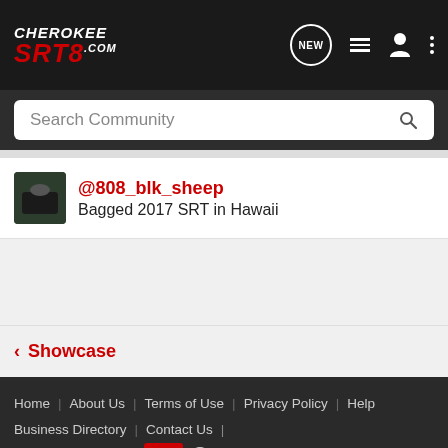Cherokee SRT8 - NEW icon, list icon, user icon, menu icon
Search Community
@808_blk_sheep
Bagged 2017 SRT in Hawaii
< Showcase
Home   About Us   Terms of Use   Privacy Policy   Help   Business Directory   Contact Us   |   Grow Your Business NEW
VerticalScope Inc., 111 Peter Street, Suite 600, Toronto, Ontario, M5V 2H1, Canada
The Fora platform includes forum software by XenForo